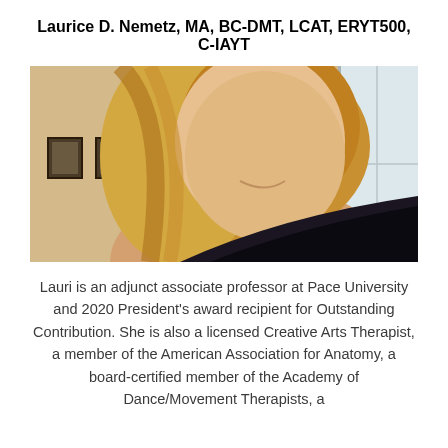Laurice D. Nemetz, MA, BC-DMT, LCAT, ERYT500, C-IAYT
[Figure (photo): Headshot photo of Laurice D. Nemetz, a smiling blonde woman in a dark top, with framed pictures on a beige wall in the background and a window to the right.]
Lauri is an adjunct associate professor at Pace University and 2020 President's award recipient for Outstanding Contribution. She is also a licensed Creative Arts Therapist, a member of the American Association for Anatomy, a board-certified member of the Academy of Dance/Movement Therapists, a